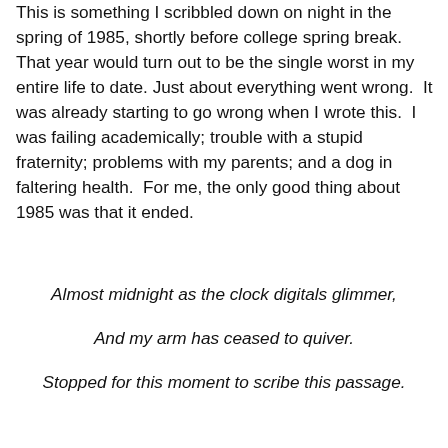This is something I scribbled down on night in the spring of 1985, shortly before college spring break. That year would turn out to be the single worst in my entire life to date. Just about everything went wrong. It was already starting to go wrong when I wrote this. I was failing academically; trouble with a stupid fraternity; problems with my parents; and a dog in faltering health. For me, the only good thing about 1985 was that it ended.
Almost midnight as the clock digitals glimmer,
And my arm has ceased to quiver.
Stopped for this moment to scribe this passage.